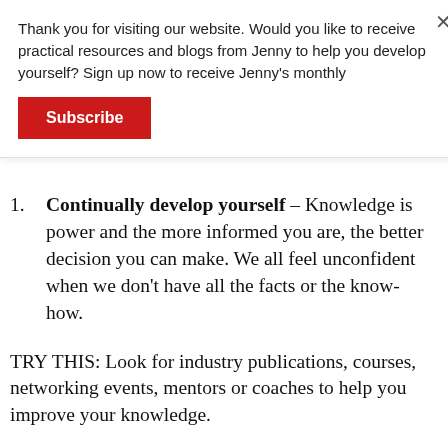Thank you for visiting our website. Would you like to receive practical resources and blogs from Jenny to help you develop yourself? Sign up now to receive Jenny's monthly
Subscribe
Continually develop yourself – Knowledge is power and the more informed you are, the better decision you can make. We all feel unconfident when we don't have all the facts or the know-how.
TRY THIS: Look for industry publications, courses, networking events, mentors or coaches to help you improve your knowledge.